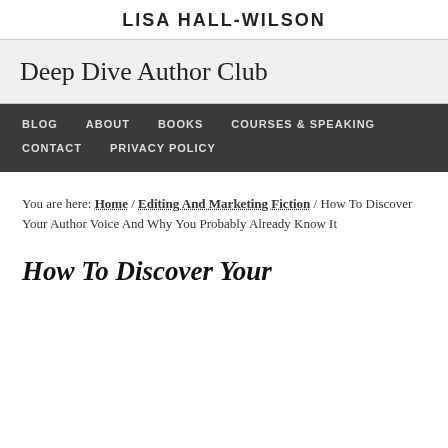LISA HALL-WILSON
Deep Dive Author Club
BLOG   ABOUT   BOOKS   COURSES & SPEAKING
CONTACT   PRIVACY POLICY
You are here: Home / Editing And Marketing Fiction / How To Discover Your Author Voice And Why You Probably Already Know It
How To Discover Your